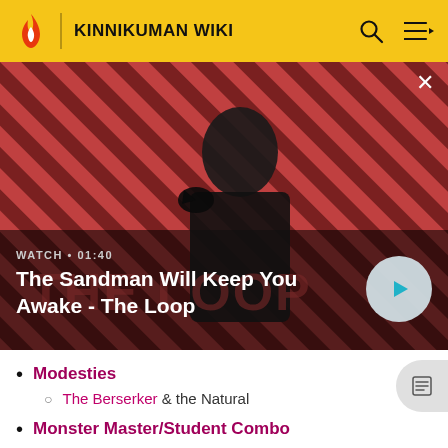KINNIKUMAN WIKI
[Figure (screenshot): Video thumbnail for 'The Sandman Will Keep You Awake - The Loop' showing a dark-cloaked figure with a bird on a striped red/dark background. Shows WATCH • 01:40 label and a play button.]
Modesties
The Berserker & the Natural
Monster Master/Student Combo
Kinkotsuman & Iwao
Most Dangerous Combo